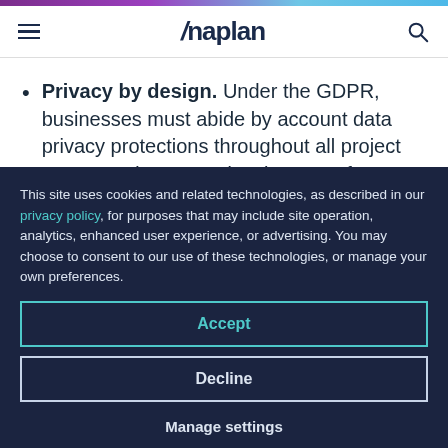Anaplan
Privacy by design. Under the GDPR, businesses must abide by account data privacy protections throughout all project stages and process development, from inception to execution.
This site uses cookies and related technologies, as described in our privacy policy, for purposes that may include site operation, analytics, enhanced user experience, or advertising. You may choose to consent to our use of these technologies, or manage your own preferences.
Accept
Decline
Manage settings